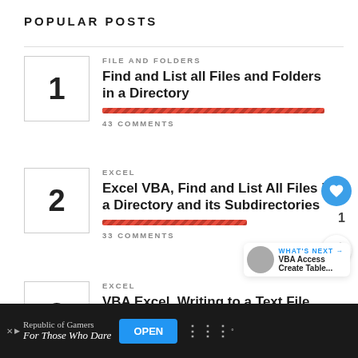POPULAR POSTS
1 — FILE AND FOLDERS — Find and List all Files and Folders in a Directory — 43 COMMENTS
2 — EXCEL — Excel VBA, Find and List All Files in a Directory and its Subdirectories — 33 COMMENTS
3 — EXCEL — VBA Excel, Writing to a Text File